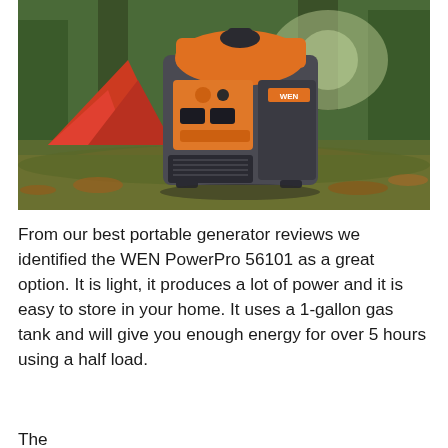[Figure (photo): A WEN 2350W portable inverter generator with orange and gray casing, placed on grass and autumn leaves outdoors near a red tent and trees in the background.]
From our best portable generator reviews we identified the WEN PowerPro 56101 as a great option. It is light, it produces a lot of power and it is easy to store in your home. It uses a 1-gallon gas tank and will give you enough energy for over 5 hours using a half load.
The...